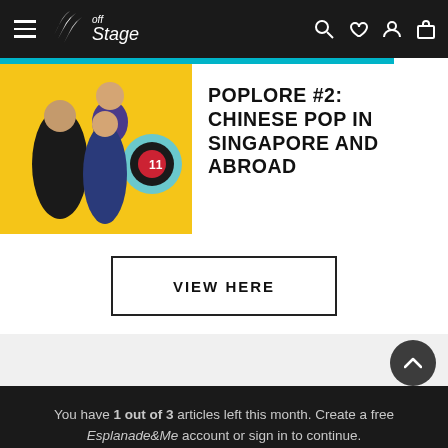Off Stage navigation bar with hamburger menu and icons
[Figure (screenshot): Event promotional image with yellow background showing performers for Poplore #2]
POPLORE #2: CHINESE POP IN SINGAPORE AND ABROAD
VIEW HERE
You have 1 out of 3 articles left this month. Create a free Esplanade&Me account or sign in to continue.
SIGN UP / LOG IN